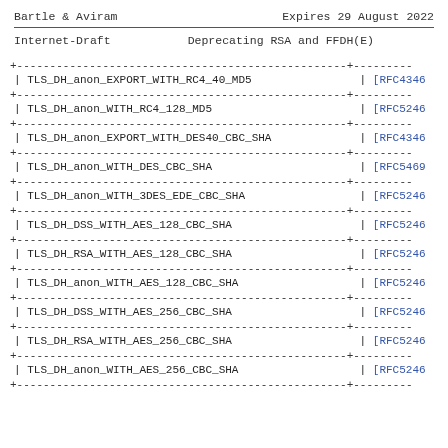Bartle & Aviram    Expires 29 August 2022
Internet-Draft      Deprecating RSA and FFDH(E)
| Cipher Suite | Reference |
| --- | --- |
| TLS_DH_anon_EXPORT_WITH_RC4_40_MD5 | [RFC4346 |
| TLS_DH_anon_WITH_RC4_128_MD5 | [RFC5246 |
| TLS_DH_anon_EXPORT_WITH_DES40_CBC_SHA | [RFC4346 |
| TLS_DH_anon_WITH_DES_CBC_SHA | [RFC5469 |
| TLS_DH_anon_WITH_3DES_EDE_CBC_SHA | [RFC5246 |
| TLS_DH_DSS_WITH_AES_128_CBC_SHA | [RFC5246 |
| TLS_DH_RSA_WITH_AES_128_CBC_SHA | [RFC5246 |
| TLS_DH_anon_WITH_AES_128_CBC_SHA | [RFC5246 |
| TLS_DH_DSS_WITH_AES_256_CBC_SHA | [RFC5246 |
| TLS_DH_RSA_WITH_AES_256_CBC_SHA | [RFC5246 |
| TLS_DH_anon_WITH_AES_256_CBC_SHA | [RFC5246 |